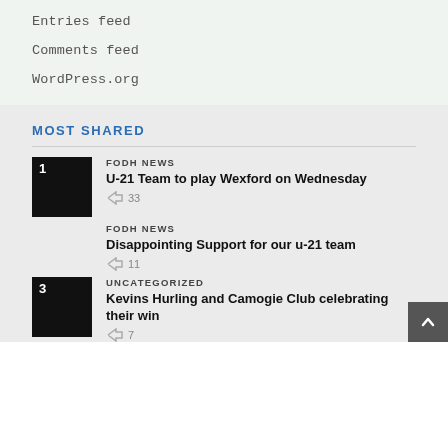Entries feed
Comments feed
WordPress.org
MOST SHARED
[Figure (photo): Black thumbnail image with number 1]
FODH NEWS
U-21 Team to play Wexford on Wednesday
33 shares
FODH NEWS
Disappointing Support for our u-21 team
11 shares
[Figure (photo): Black thumbnail image with number 3]
UNCATEGORIZED
Kevins Hurling and Camogie Club celebrating their win
7 shares